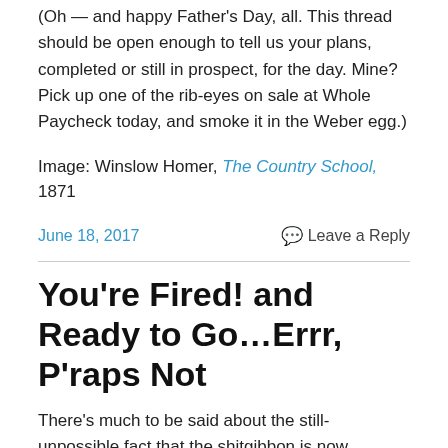(Oh — and happy Father's Day, all.  This thread should be open enough to tell us your plans, completed or still in prospect, for the day.  Mine? Pick up one of the rib-eyes on sale at Whole Paycheck today, and smoke it in the Weber egg.)
Image: Winslow Homer, The Country School,  1871
June 18, 2017
Leave a Reply
You're Fired! and Ready to Go…Errr, P'raps Not
There's much to be said about the still-unpossible fact that the shitgibbon is now president.  But in this day one of our national experiment in test-to-destruction governance,